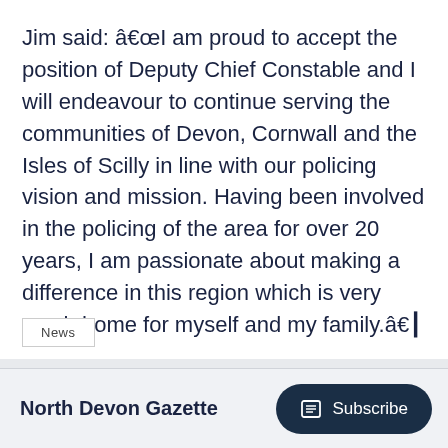Jim said: â€œI am proud to accept the position of Deputy Chief Constable and I will endeavour to continue serving the communities of Devon, Cornwall and the Isles of Scilly in line with our policing vision and mission. Having been involved in the policing of the area for over 20 years, I am passionate about making a difference in this region which is very much home for myself and my family.â€≡
News
North Devon Gazette